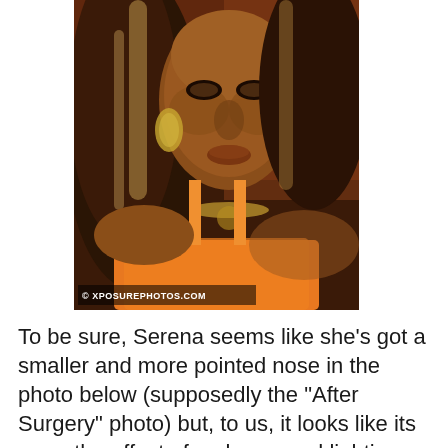[Figure (photo): Close-up photo of a woman wearing an orange dress and gold jewelry, with long highlighted hair. Watermark reads '© XPOSUREPHOTOS.COM' at bottom left.]
To be sure, Serena seems like she’s got a smaller and more pointed nose in the photo below (supposedly the “After Surgery” photo) but, to us, it looks like its more the effect of make-up and lighting. What do you think? Based on these “Before” and “After” pics, do you think there was a Serena Williams plastic surgery?